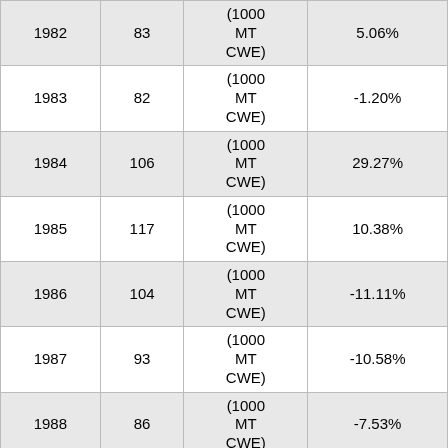| Year | Value | Unit | Change |
| --- | --- | --- | --- |
| 1982 | 83 | (1000 MT CWE) | 5.06% |
| 1983 | 82 | (1000 MT CWE) | -1.20% |
| 1984 | 106 | (1000 MT CWE) | 29.27% |
| 1985 | 117 | (1000 MT CWE) | 10.38% |
| 1986 | 104 | (1000 MT CWE) | -11.11% |
| 1987 | 93 | (1000 MT CWE) | -10.58% |
| 1988 | 86 | (1000 MT CWE) | -7.53% |
| 1989 | 108 | (1000 MT CWE) | 25.58% |
| 1990 | 110 | (1000 MT CWE) | 1.85% |